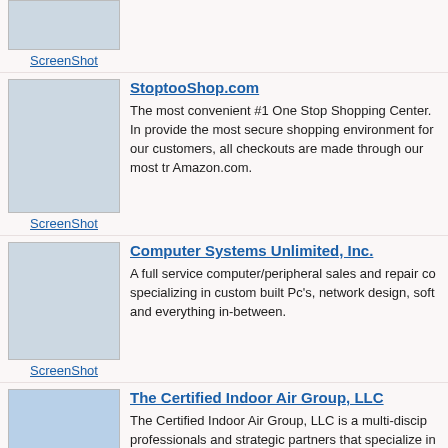[Figure (screenshot): Partial screenshot of a website at top of page]
ScreenShot
[Figure (screenshot): Screenshot of StoptooShop.com website]
StoptooShop.com
The most convenient #1 One Stop Shopping Center. In provide the most secure shopping environment for our customers, all checkouts are made through our most tr Amazon.com.
ScreenShot
[Figure (screenshot): Screenshot of Computer Systems Unlimited, Inc. website]
Computer Systems Unlimited, Inc.
A full service computer/peripheral sales and repair co specializing in custom built Pc's, network design, soft and everything in-between.
ScreenShot
[Figure (screenshot): Screenshot of The Certified Indoor Air Group, LLC website]
The Certified Indoor Air Group, LLC
The Certified Indoor Air Group, LLC is a multi-discip professionals and strategic partners that specialize in I environmental Quality, with a focus on the prevention problems associated with microbial and airborne pollu adversely affect indoor environments.